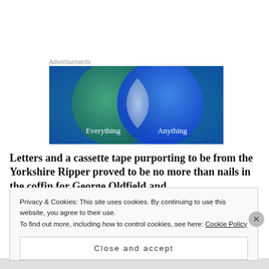Advertisements
[Figure (illustration): Advertisement banner showing two overlapping circles (Venn diagram style) on a blue-green gradient background. Left circle is teal/green with text 'Everything', right circle is blue with text 'Anything', overlapping region is light gray.]
Letters and a cassette tape purporting to be from the Yorkshire Ripper proved to be no more than nails in the coffin for George Oldfield and
Privacy & Cookies: This site uses cookies. By continuing to use this website, you agree to their use.
To find out more, including how to control cookies, see here: Cookie Policy
Close and accept